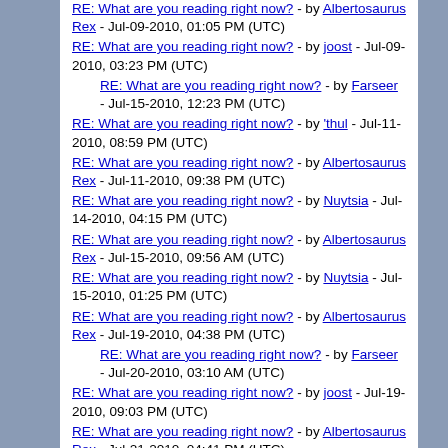RE: What are you reading right now? - by Albertosaurus Rex - Jul-09-2010, 01:05 PM (UTC)
RE: What are you reading right now? - by joost - Jul-09-2010, 03:23 PM (UTC)
RE: What are you reading right now? - by Farseer - Jul-15-2010, 12:23 PM (UTC)
RE: What are you reading right now? - by 'thul - Jul-11-2010, 08:59 PM (UTC)
RE: What are you reading right now? - by Albertosaurus Rex - Jul-11-2010, 09:38 PM (UTC)
RE: What are you reading right now? - by Nuytsia - Jul-14-2010, 04:15 PM (UTC)
RE: What are you reading right now? - by Albertosaurus Rex - Jul-15-2010, 09:56 AM (UTC)
RE: What are you reading right now? - by Nuytsia - Jul-15-2010, 01:25 PM (UTC)
RE: What are you reading right now? - by Albertosaurus Rex - Jul-19-2010, 04:38 PM (UTC)
RE: What are you reading right now? - by Farseer - Jul-20-2010, 03:10 AM (UTC)
RE: What are you reading right now? - by joost - Jul-19-2010, 09:03 PM (UTC)
RE: What are you reading right now? - by Albertosaurus Rex - Jul-21-2010, 04:41 PM (UTC)